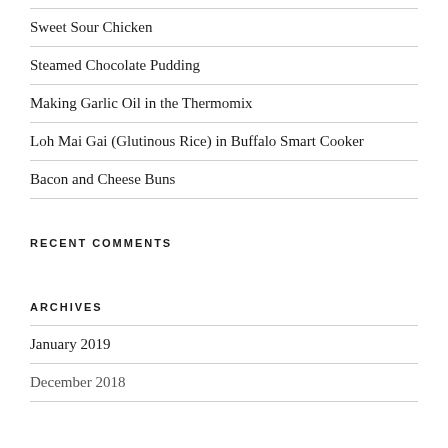Sweet Sour Chicken
Steamed Chocolate Pudding
Making Garlic Oil in the Thermomix
Loh Mai Gai (Glutinous Rice) in Buffalo Smart Cooker
Bacon and Cheese Buns
RECENT COMMENTS
ARCHIVES
January 2019
December 2018